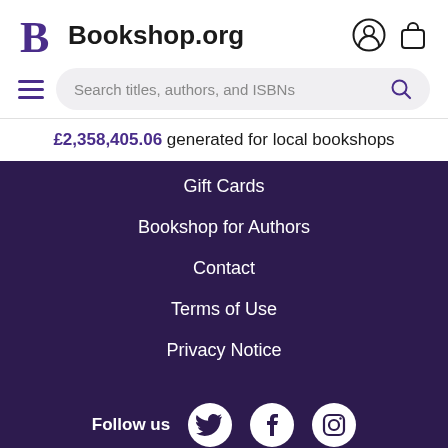Bookshop.org
£2,358,405.06 generated for local bookshops
Gift Cards
Bookshop for Authors
Contact
Terms of Use
Privacy Notice
Follow us